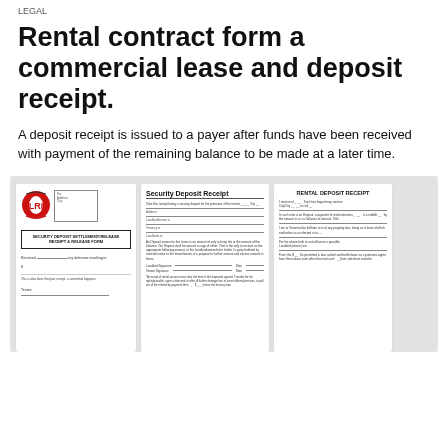LEGAL
Rental contract form a commercial lease and deposit receipt.
A deposit receipt is issued to a payer after funds have been received with payment of the remaining balance to be made at a later time.
[Figure (illustration): Preview thumbnails of three document templates: a Security Deposit Settlement Release Form with a logo, a Security Deposit Receipt form, and a Rental Deposit Receipt form, displayed on a grey background.]